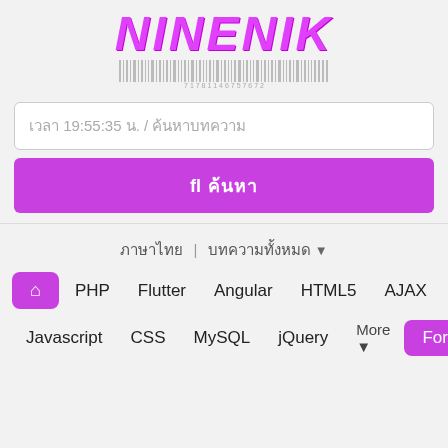NINENIK
[Figure (other): Barcode with numbers 7 1 7 8 1 1 4 6 7 5 7 6 7 2]
เวลา 19:55:35 น. / ค้นหาบทความ
ค้นหา
ภาษาไทย | บทความทั้งหมด ▾
🏠 PHP Flutter Angular HTML5 AJAX
Javascript CSS MySQL jQuery More ▾ Forum